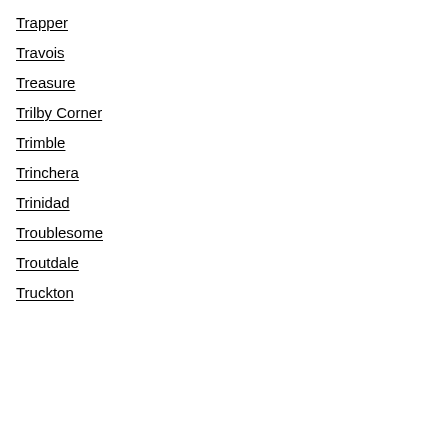Trapper
Travois
Treasure
Trilby Corner
Trimble
Trinchera
Trinidad
Troublesome
Troutdale
Truckton